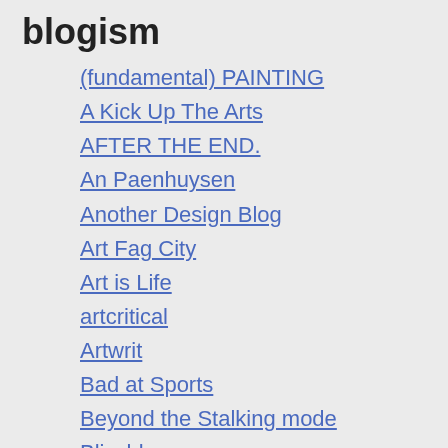blogism
(fundamental) PAINTING
A Kick Up The Arts
AFTER THE END.
An Paenhuysen
Another Design Blog
Art Fag City
Art is Life
artcritical
Artwrit
Bad at Sports
Beyond the Stalking mode
Blissblog
Brian Dupont: Artist's Texts
C-Monster.net
Cathedral of Shit
Contemporary Monkey